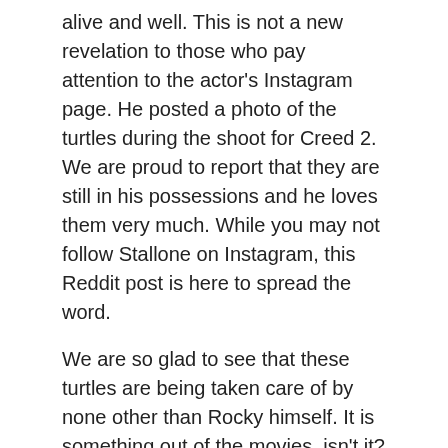alive and well. This is not a new revelation to those who pay attention to the actor's Instagram page. He posted a photo of the turtles during the shoot for Creed 2. We are proud to report that they are still in his possessions and he loves them very much. While you may not follow Stallone on Instagram, this Reddit post is here to spread the word.
We are so glad to see that these turtles are being taken care of by none other than Rocky himself. It is something out of the movies, isn't it? His compassion and dedication to the well being of the turtles is just marvellous. It reminds us of the level of dedication that Mike Tyson has towards his pigeons. These turtles even got some screen time in Creed 2.
The Reddit thread that broke out in tribute to these turtles is too adorable for words. Social media is well known for its snark. However, even Reddit was not able to put on a brave front for this story. There is something about tough guys with pets that touches the hearts of everyone. It makes these types of actors so much easier to relate to.
We all have soft spots, right? While we never would have predicted that he would still own those turtles after all